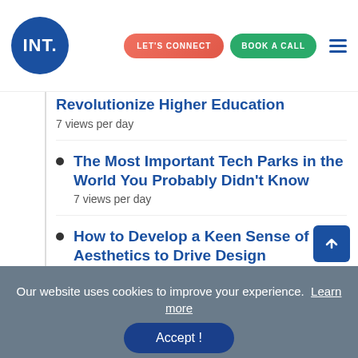INT. | LET'S CONNECT | BOOK A CALL
Revolutionize Higher Education
7 views per day
The Most Important Tech Parks in the World You Probably Didn't Know
7 views per day
How to Develop a Keen Sense of Aesthetics to Drive Design Innovation
7 views per day
Our website uses cookies to improve your experience. Learn more
Accept !